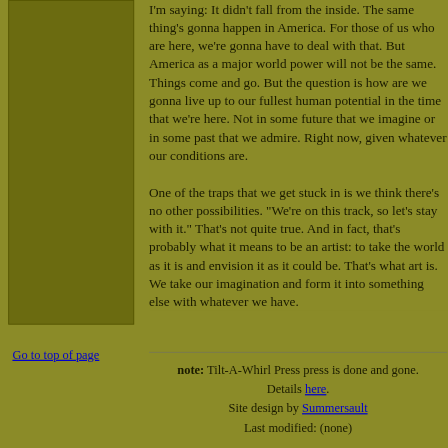I'm saying: It didn't fall from the inside. The same thing's gonna happen in America. For those of us who are here, we're gonna have to deal with that. But America as a major world power will not be the same. Things come and go. But the question is how are we gonna live up to our fullest human potential in the time that we're here. Not in some future that we imagine or in some past that we admire. Right now, given whatever our conditions are.
One of the traps that we get stuck in is we think there's no other possibilities. "We're on this track, so let's stay with it." That's not quite true. And in fact, that's probably what it means to be an artist: to take the world as it is and envision it as it could be. That's what art is. We take our imagination and form it into something else with whatever we have.
Go to top of page
note: Tilt-A-Whirl Press press is done and gone. Details here. Site design by Summersault. Last modified: (none)